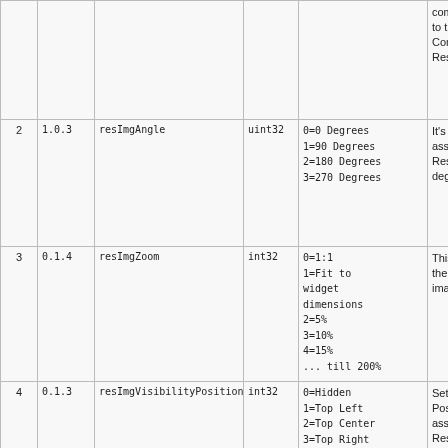| # | Version | Name | Type | Values | Description |
| --- | --- | --- | --- | --- | --- |
|  |  |  |  |  | comp to the Comm Resu |
| 2 | 1.0.3 | resImgAngle | uint32 | 0=0 Degrees
1=90 Degrees
2=180 Degrees
3=270 Degrees | It's th of the asso the C Resu 180, degre |
| 3 | 0.1.4 | resImgZoom | int32 | 0=1:1
1=Fit to widget dimensions
2=5%
3=10%
4=15%
... till 200% | This i zoom the p para imag 5%-2 |
| 4 | 0.1.3 | resImgVisibilityPosition | int32 | 0=Hidden
1=Top Left
2=Top Center
3=Top Right
4=Center Left
5=Center
6=Center Right
7=Bottom Left
8=Bottom Center | Sets Visib Posit imag asso Comm Resu Snipp |